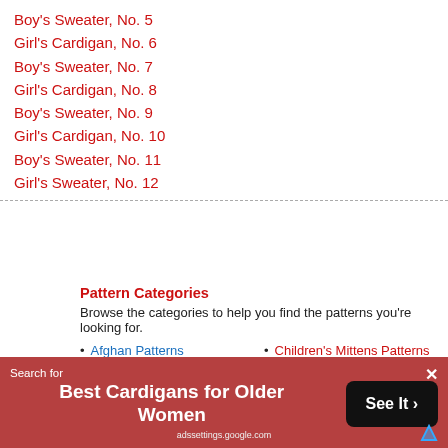Boy's Sweater, No. 5
Girl's Cardigan, No. 6
Boy's Sweater, No. 7
Girl's Cardigan, No. 8
Boy's Sweater, No. 9
Girl's Cardigan, No. 10
Boy's Sweater, No. 11
Girl's Sweater, No. 12
Pattern Categories
Browse the categories to help you find the patterns you're looking for.
Afghan Patterns
Children's Mittens Patterns
Baby Blanket Patterns
Children's Swimsuit Patterns
Baby Bonnet Patterns
Christmas Patterns
[Figure (infographic): Advertisement overlay: 'Search for Best Cardigans for Older Women' with a 'See It >' button on dark brown/red background]